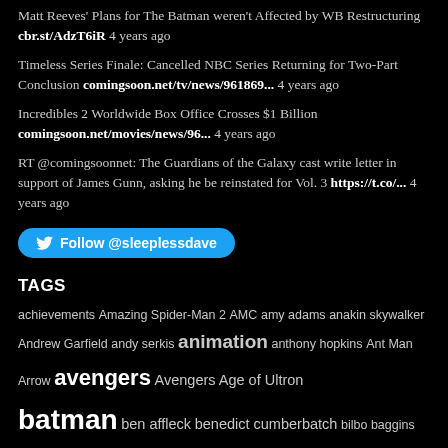Matt Reeves' Plans for The Batman weren't Affected by WB Restructuring cbr.st/AdzT6iR 4 years ago
Timeless Series Finale: Cancelled NBC Series Returning for Two-Part Conclusion comingsoon.net/tv/news/961869... 4 years ago
Incredibles 2 Worldwide Box Office Crosses $1 Billion comingsoon.net/movies/news/96... 4 years ago
RT @comingsoonnet: The Guardians of the Galaxy cast write letter in support of James Gunn, asking he be reinstated for Vol. 3 https://t.co/... 4 years ago
Follow @sleeplessdave
TAGS
achievements Amazing Spider-Man 2 AMC amy adams anakin skywalker Andrew Garfield andy serkis animation anthony hopkins Ant Man Arrow avengers Avengers Age of Ultron batman ben affleck benedict cumberbatch bilbo baggins Black Panther black widow blogging blu rays books Box Office brad pitt breaking bad Bryan Singer Captain America